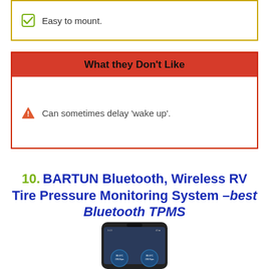Easy to mount.
What they Don't Like
Can sometimes delay 'wake up'.
10. BARTUN Bluetooth, Wireless RV Tire Pressure Monitoring System –best Bluetooth TPMS
[Figure (photo): A smartphone displaying a TPMS app with tire pressure readings on a dark background screen]